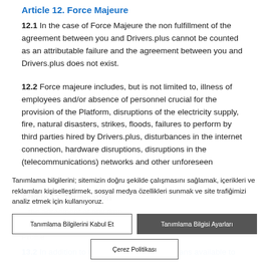Article 12. Force Majeure
12.1 In the case of Force Majeure the non fulfillment of the agreement between you and Drivers.plus cannot be counted as an attributable failure and the agreement between you and Drivers.plus does not exist.
12.2 Force majeure includes, but is not limited to, illness of employees and/or absence of personnel crucial for the provision of the Platform, disruptions of the electricity supply, fire, natural disasters, strikes, floods, failures to perform by third parties hired by Drivers.plus, disturbances in the internet connection, hardware disruptions, disruptions in the (telecommunications) networks and other unforeseen circumstances such as described above.
Article 13. Termination
...the agreement at any time... from one termination... Profile
13.2 In addition to the other remedies or means available to
Tanımlama bilgilerini; sitemizin doğru şekilde çalışmasını sağlamak, içerikleri ve reklamları kişiselleştirmek, sosyal medya özellikleri sunmak ve site trafiğimizi analiz etmek için kullanıyoruz.
Tanımlama Bilgilerini Kabul Et
Tanımlama Bilgisi Ayarları
Çerez Politikası